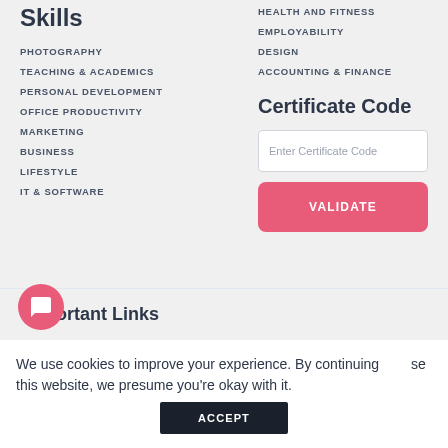Skills
PHOTOGRAPHY
TEACHING & ACADEMICS
PERSONAL DEVELOPMENT
OFFICE PRODUCTIVITY
MARKETING
BUSINESS
LIFESTYLE
IT & SOFTWARE
HEALTH AND FITNESS
EMPLOYABILITY
DESIGN
ACCOUNTING & FINANCE
Certificate Code
Enter Certificate Code
VALIDATE
Important Links
We use cookies to improve your experience. By continuing se this website, we presume you're okay with it.
ACCEPT